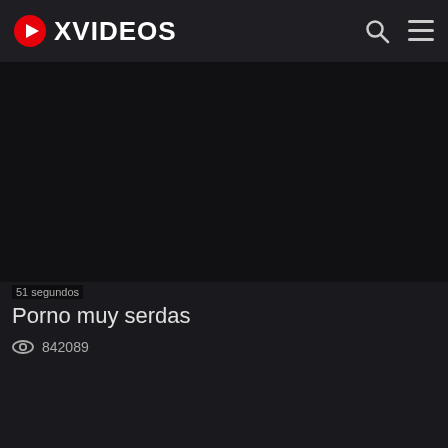XVIDEOS
[Figure (screenshot): Dark video player area showing a nearly black video thumbnail]
51 segundos
Porno muy serdas
842089